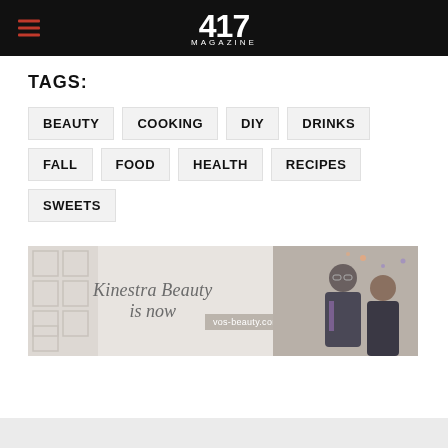417 MAGAZINE
TAGS:
BEAUTY
COOKING
DIY
DRINKS
FALL
FOOD
HEALTH
RECIPES
SWEETS
[Figure (photo): Advertisement banner for Kinestra Beauty (now vos-beauty.com), featuring two smiling people and italic serif text reading 'Kinestra Beauty is now' with a URL label.]